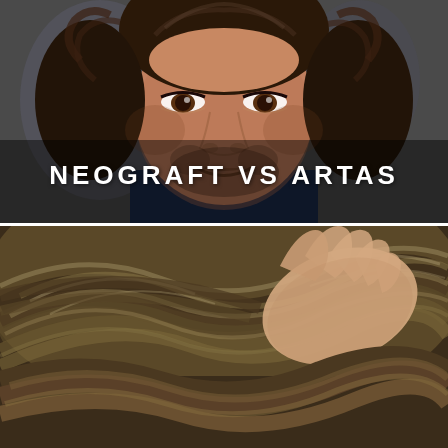[Figure (photo): Close-up portrait of a young man with dark curly hair and stubble beard, looking directly at camera against a blurred background.]
NEOGRAFT VS ARTAS
[Figure (photo): Close-up of the top of a person's head showing dense brown hair, with a hand running through the hair.]